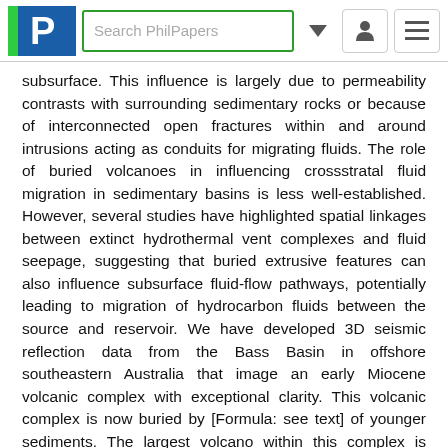PhilPapers navigation bar with logo, search box, and menu icons
subsurface. This influence is largely due to permeability contrasts with surrounding sedimentary rocks or because of interconnected open fractures within and around intrusions acting as conduits for migrating fluids. The role of buried volcanoes in influencing crossstratal fluid migration in sedimentary basins is less well-established. However, several studies have highlighted spatial linkages between extinct hydrothermal vent complexes and fluid seepage, suggesting that buried extrusive features can also influence subsurface fluid-flow pathways, potentially leading to migration of hydrocarbon fluids between the source and reservoir. We have developed 3D seismic reflection data from the Bass Basin in offshore southeastern Australia that image an early Miocene volcanic complex with exceptional clarity. This volcanic complex is now buried by [Formula: see text] of younger sediments. The largest volcano within this complex is directly overlain by a vertical feature interpreted to be a fluid escape pipe, which extends vertically for approximately 700 m across the late Miocene-Pliocene succession. We suggest that the buried volcanic